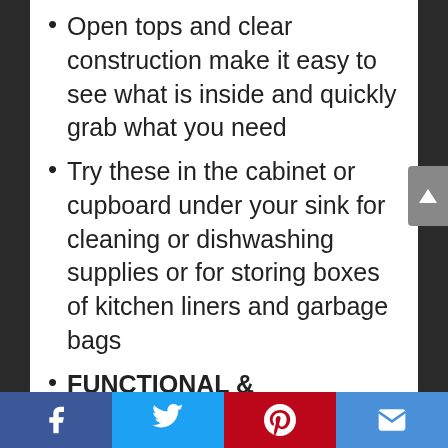Open tops and clear construction make it easy to see what is inside and quickly grab what you need
Try these in the cabinet or cupboard under your sink for cleaning or dishwashing supplies or for storing boxes of kitchen liners and garbage bags
FUNCTIONAL & VERSATILE: These great organizing bins are the perfect solution for organizing a multitude of household items – such as video games, toys, lotions, bath soaps, shampoos, conditioners,
Facebook | Twitter | Pinterest | Email